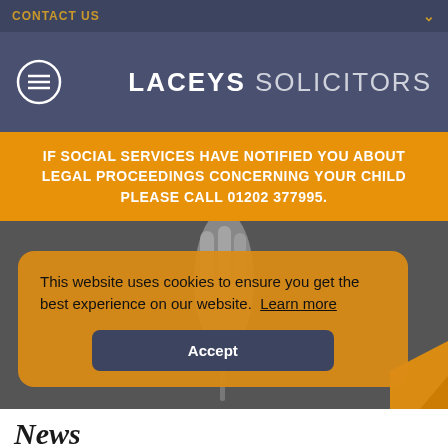CONTACT US
[Figure (logo): Laceys Solicitors logo with hamburger menu icon on dark blue/grey background]
IF SOCIAL SERVICES HAVE NOTIFIED YOU ABOUT LEGAL PROCEEDINGS CONCERNING YOUR CHILD PLEASE CALL 01202 377995.
[Figure (photo): Black and white photo of a hand holding a screwdriver or pen]
This website uses cookies to ensure you get the best experience on our website. Learn more
Accept
News